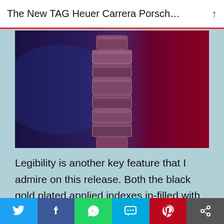The New TAG Heuer Carrera Porsch…
[Figure (photo): Close-up photo of a TAG Heuer Carrera Porsche watch bracelet/case, deep red and purple gradient background with metallic watch strap segments visible in center.]
Legibility is another key feature that I admire on this release. Both the black gold plated applied indexes in-filled with white Super-LumiNova® in classic Porsche font — the Arabic numerals suggest the numbers on the dashboard of fine Porsche sportscars — and the rhodium-plated hour and minute hands again with white Super-LumiNova® dance in tandem
[Figure (screenshot): Social sharing bar with icons for Twitter, Facebook, WhatsApp, SMS, Pinterest, and a share/more button.]